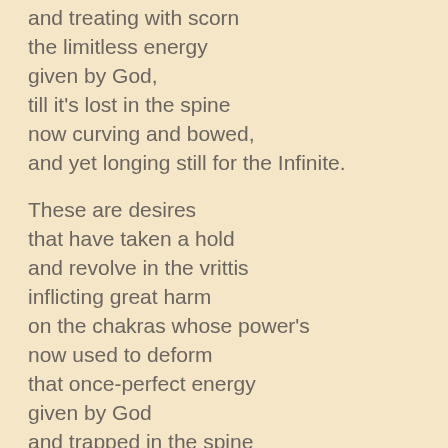and treating with scorn
the limitless energy
given by God,
till it's lost in the spine
now curving and bowed,
and yet longing still for the Infinite.
These are desires
that have taken a hold
and revolve in the vrittis
inflicting great harm
on the chakras whose power's
now used to deform
that once-perfect energy
given by God
and trapped in the spine
which is tied up in knots,
and can't see the path to the Infinite.
This is the ego
becoming enthralled
with fulfilling desires